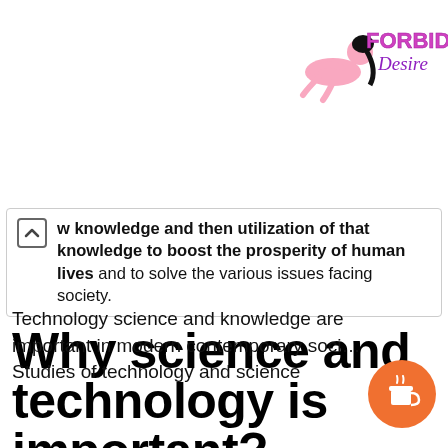[Figure (logo): Forbidden Desire logo with illustrated woman and pink/purple stylized text]
w knowledge and then utilization of that knowledge to boost the prosperity of human lives and to solve the various issues facing society.
Why science and technology is important?
Technology science and knowledge are important in modern contemporary soci... Studies of technology and science